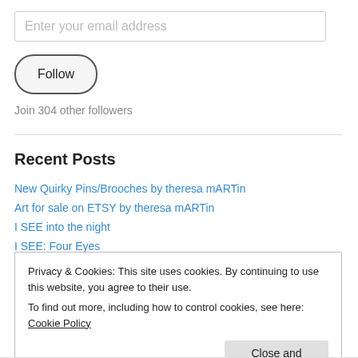Enter your email address
Follow
Join 304 other followers
Recent Posts
New Quirky Pins/Brooches by theresa mARTin
Art for sale on ETSY by theresa mARTin
I SEE into the night
I SEE: Four Eyes
Privacy & Cookies: This site uses cookies. By continuing to use this website, you agree to their use. To find out more, including how to control cookies, see here: Cookie Policy
Close and accept